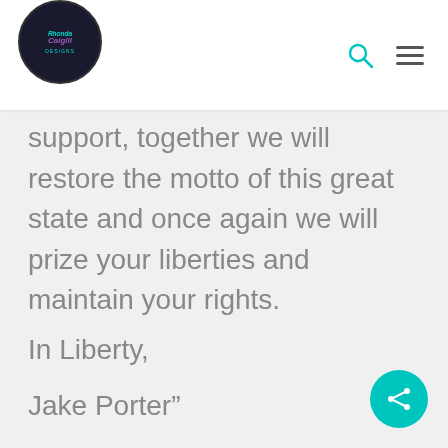Rhonda Caigill Designs [logo with search and menu icons]
support, together we will restore the motto of this great state and once again we will prize your liberties and maintain your rights.
In Liberty,
Jake Porter”